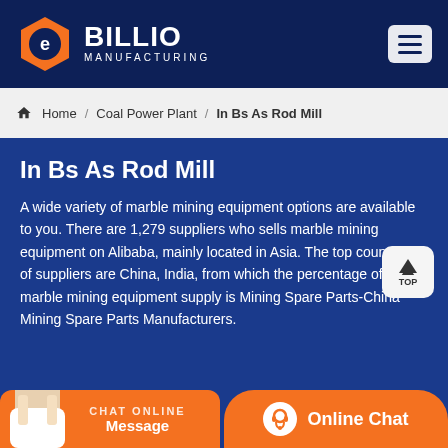BILLIO MANUFACTURING
Home / Coal Power Plant / In Bs As Rod Mill
In Bs As Rod Mill
A wide variety of marble mining equipment options are available to you. There are 1,279 suppliers who sells marble mining equipment on Alibaba, mainly located in Asia. The top countries of suppliers are China, India, from which the percentage of marble mining equipment supply is Mining Spare Parts-China Mining Spare Parts Manufacturers.
CHAT ONLINE
Message
Online Chat